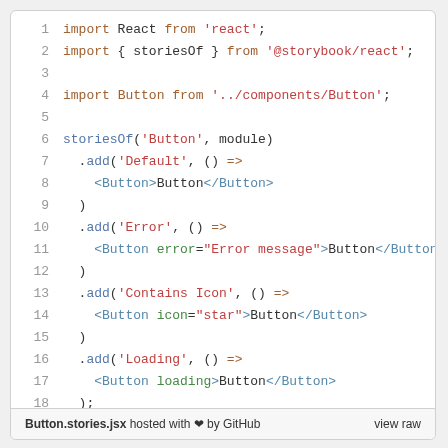[Figure (screenshot): Code screenshot showing a JavaScript/JSX file (Button.stories.jsx) with 18 lines of code using React and Storybook. Lines show import statements, storiesOf calls, and JSX Button components with various props.]
Button.stories.jsx hosted with ❤ by GitHub    view raw